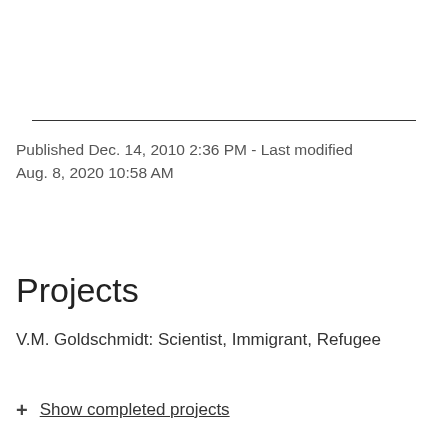Published Dec. 14, 2010 2:36 PM - Last modified Aug. 8, 2020 10:58 AM
Projects
V.M. Goldschmidt: Scientist, Immigrant, Refugee
+ Show completed projects